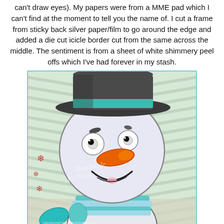can't draw eyes). My papers were from a MME pad which I can't find at the moment to tell you the name of. I cut a frame from sticky back silver paper/film to go around the edge and added a die cut icicle border cut from the same across the middle. The sentiment is from a sheet of white shimmery peel offs which I've had forever in my stash.
[Figure (photo): A colorful illustration of a snowman with a dark top hat with a teal band, large round white head, googly eyes, orange carrot nose, a smile, wearing a teal and light blue striped scarf, against a chevron patterned background. A watermark reads 'Handmade by Trudy'.]